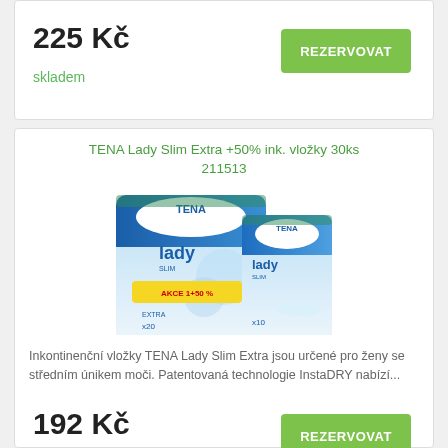225 Kč
skladem
REZERVOVAT
TENA Lady Slim Extra +50% ink. vložky 30ks 211513
[Figure (photo): Product photo of TENA Lady Slim incontinence pads pack showing AKCE 1+50% navíc promotional label]
Inkontinenční vložky TENA Lady Slim Extra jsou určené pro ženy se středním únikem moči. Patentovaná technologie InstaDRY nabízí...
192 Kč
skladem
REZERVOVAT